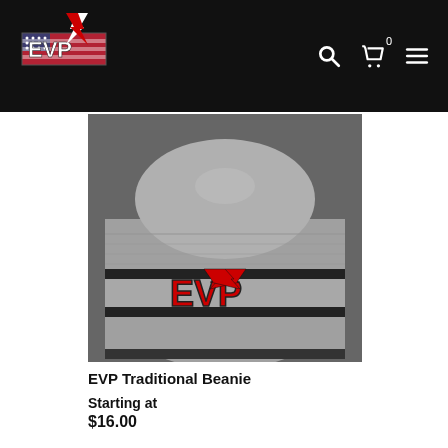[Figure (logo): EVP brand logo with American flag styling and lightning bolt / wing design, white and red on black background]
[Figure (photo): Gray knit beanie with two black horizontal stripes and a red EVP logo embroidered on the front cuff, photographed on a dark surface]
EVP Traditional Beanie
Starting at
$16.00